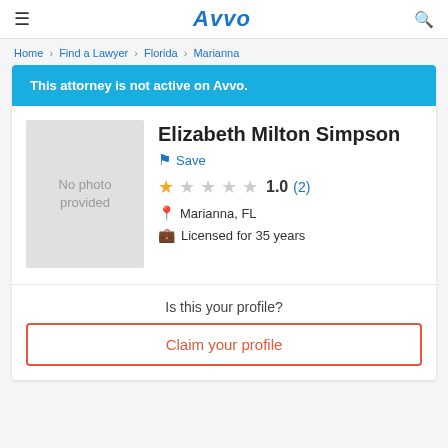Avvo
Home > Find a Lawyer > Florida > Marianna
This attorney is not active on Avvo.
Elizabeth Milton Simpson
Save
1.0 (2)
Marianna, FL
Licensed for 35 years
Is this your profile?
Claim your profile